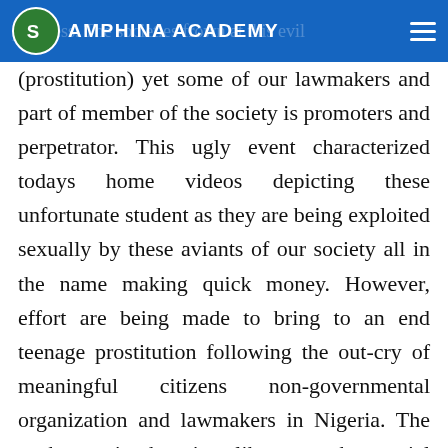AMPHINA ACADEMY
priceless. The societies frown at this evil (prostitution) yet some of our lawmakers and part of member of the society is promoters and perpetrator. This ugly event characterized todays home videos depicting these unfortunate student as they are being exploited sexually by these aviants of our society all in the name making quick money. However, effort are being made to bring to an end teenage prostitution following the out-cry of meaningful citizens non-governmental organization and lawmakers in Nigeria. The truth remain that, just like any other social problem in our society and the worlds at large, prostitution wherever it occur cannot be eradicated I all its